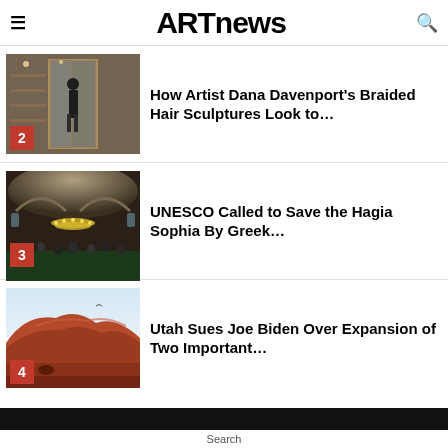ARTnews
[Figure (photo): Interior of a gallery or shop with a person standing in doorway]
How Artist Dana Davenport's Braided Hair Sculptures Look to…
[Figure (photo): Interior of Hagia Sophia with large crowds and ornate chandeliers]
UNESCO Called to Save the Hagia Sophia By Greek…
[Figure (photo): Red rock desert landscape in Utah]
Utah Sues Joe Biden Over Expansion of Two Important…
Search